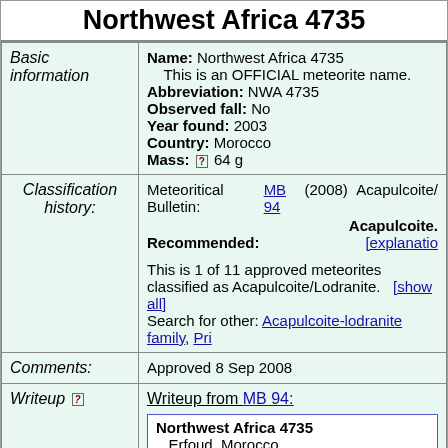Northwest Africa 4735
| Category | Content |
| --- | --- |
| Basic information | Name: Northwest Africa 4735
This is an OFFICIAL meteorite name.
Abbreviation: NWA 4735
Observed fall: No
Year found: 2003
Country: Morocco
Mass: [?] 64 g |
| Classification history: | Meteoritical Bulletin: MB 94 (2008) Acapulcoite/... Recommended: Acapulcoite... [explanation...]
This is 1 of 11 approved meteorites classified as Acapulcoite/Lodranite. [show all]
Search for other: Acapulcoite-lodranite family, Pri... |
| Comments: | Approved 8 Sep 2008 |
| Writeup [?] | Writeup from MB 94:
Northwest Africa 4735
Erfoud, Morocco
Find: 2003 |